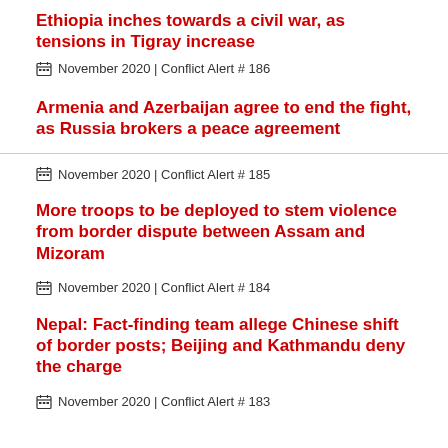Ethiopia inches towards a civil war, as tensions in Tigray increase
November 2020 | Conflict Alert # 186
Armenia and Azerbaijan agree to end the fight, as Russia brokers a peace agreement
November 2020 | Conflict Alert # 185
More troops to be deployed to stem violence from border dispute between Assam and Mizoram
November 2020 | Conflict Alert # 184
Nepal: Fact-finding team allege Chinese shift of border posts; Beijing and Kathmandu deny the charge
November 2020 | Conflict Alert # 183